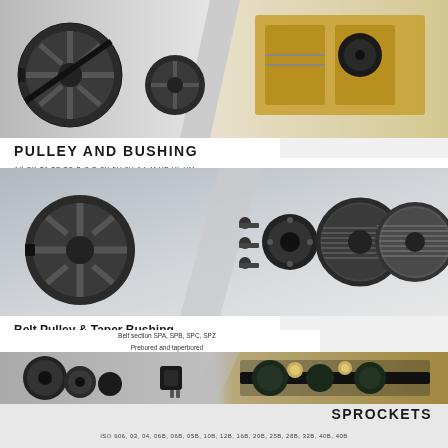[Figure (photo): Belt pulleys and pulley wheels on grey gradient background, left half of top banner]
[Figure (photo): Yellow industrial machinery/crusher with pulley wheel, right half of top banner]
PULLEY AND BUSHING
AK  BK  TA  TB  TC  B   C  D  3V  5V  8V  J  L  M  VP  VL  VM
[Figure (photo): Exploded view of belt pulley components including single groove pulley, bolts, hub, and multi-groove pulleys on gradient background]
Belt Pulley & Taper Bushing
Belt section SPA, SPB, SPC, SPZ
Prebored and taperbored
Statically balanced
[Figure (photo): Various belt pulleys and taper bushings on left side of lower section]
[Figure (photo): Timing belt pulley system with rollers on right side of lower section]
SPROCKETS
ISO 606, 03, 04, 06B, 06B, 05B, 10B, 12B, 16B, 20B, 25B, 28B, 32B, 40B, 40B